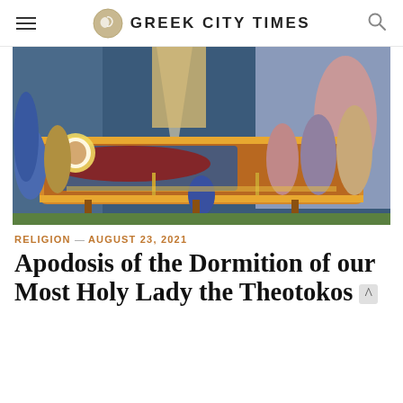GREEK CITY TIMES
[Figure (illustration): Byzantine Orthodox icon showing the Dormition of the Theotokos — the Virgin Mary lying on a bier surrounded by apostles and figures, with a golden halo and ornate sarcophagus, in typical Eastern Orthodox iconographic style]
RELIGION — AUGUST 23, 2021
Apodosis of the Dormition of our Most Holy Lady the Theotokos and Ever-Virgin Mary